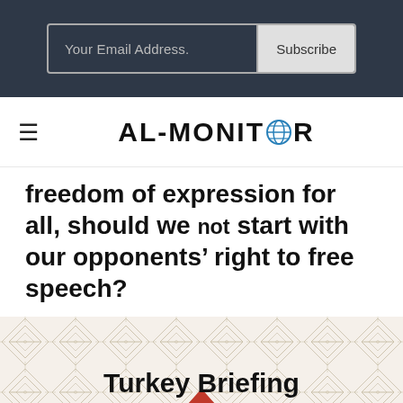Your Email Address. | Subscribe
[Figure (logo): AL-MONITOR logo with globe icon replacing the O]
freedom of expression for all, should we not start with our opponents' right to free speech?
[Figure (illustration): Turkey Briefing banner with geometric diamond/triangle pattern background and red triangle at bottom center]